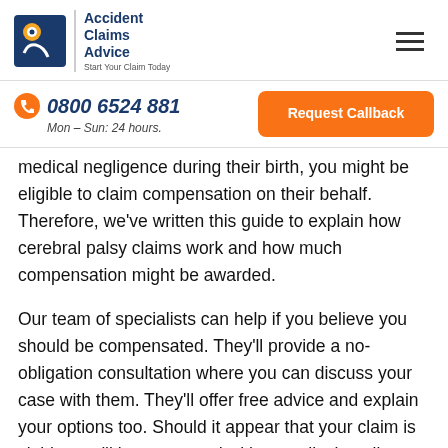Accident Claims Advice — Start Your Claim Today
0800 6524 881 — Mon – Sun: 24 hours. | Request Callback
medical negligence during their birth, you might be eligible to claim compensation on their behalf. Therefore, we've written this guide to explain how cerebral palsy claims work and how much compensation might be awarded.
Our team of specialists can help if you believe you should be compensated. They'll provide a no-obligation consultation where you can discuss your case with them. They'll offer free advice and explain your options too. Should it appear that your claim is viable, you'll be connected with a medical negligence solicitor from our